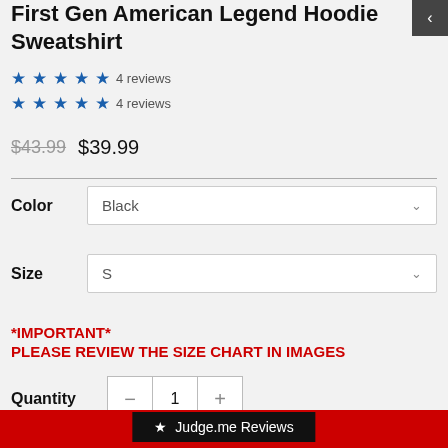First Gen American Legend Hoodie Sweatshirt
★★★★★ 4 reviews
★★★★★ 4 reviews
$43.99  $39.99
Color  Black
Size  S
*IMPORTANT*
PLEASE REVIEW THE SIZE CHART IN IMAGES
Quantity  1
★ Judge.me Reviews